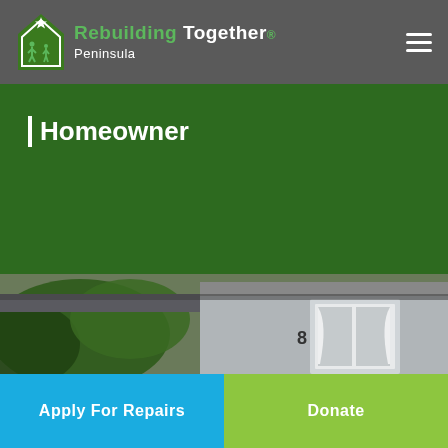[Figure (logo): Rebuilding Together Peninsula logo with house icon and figures, white and green on gray background]
Homeowner
[Figure (photo): Photograph of a house exterior showing roof overhang, front door with curtains, and house number 8]
Apply For Repairs
Donate